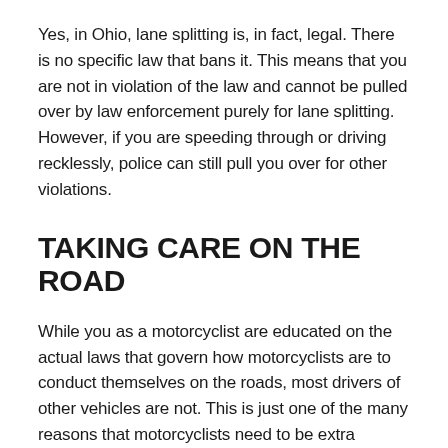Yes, in Ohio, lane splitting is, in fact, legal. There is no specific law that bans it. This means that you are not in violation of the law and cannot be pulled over by law enforcement purely for lane splitting. However, if you are speeding through or driving recklessly, police can still pull you over for other violations.
TAKING CARE ON THE ROAD
While you as a motorcyclist are educated on the actual laws that govern how motorcyclists are to conduct themselves on the roads, most drivers of other vehicles are not. This is just one of the many reasons that motorcyclists need to be extra vigilant when riding. When drivers will not watch out for you, you need to watch out for them.